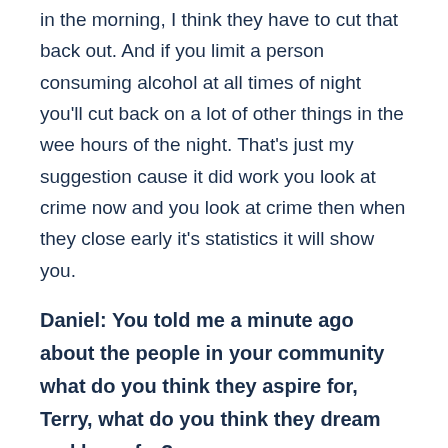in the morning, I think they have to cut that back out. And if you limit a person consuming alcohol at all times of night you'll cut back on a lot of other things in the wee hours of the night. That's just my suggestion cause it did work you look at crime now and you look at crime then when they close early it's statistics it will show you.
Daniel: You told me a minute ago about the people in your community what do you think they aspire for, Terry, what do you think they dream and hope for?
Terry: Well, every person that I ever met in